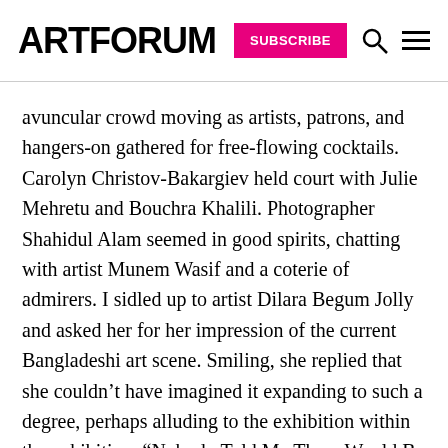ARTFORUM SUBSCRIBE
avuncular crowd moving as artists, patrons, and hangers-on gathered for free-flowing cocktails. Carolyn Christov-Bakargiev held court with Julie Mehretu and Bouchra Khalili. Photographer Shahidul Alam seemed in good spirits, chatting with artist Munem Wasif and a coterie of admirers. I sidled up to artist Dilara Begum Jolly and asked her for her impression of the current Bangladeshi art scene. Smiling, she replied that she couldn't have imagined it expanding to such a degree, perhaps alluding to the exhibition within the exhibition, “Nobody Told Me There Would Be Days Like This,” featuring the Shomoy group, of which she is a member. Curated by critic and publisher Mustafa